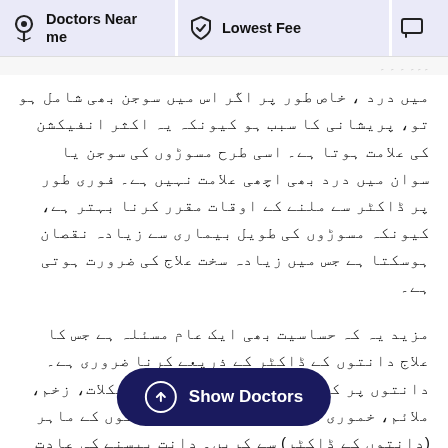Doctors Near me | Lowest Fee
میں درد ، خاص طور پر اگر اس میں سوجن بھی شامل ہو تو، پریشانی کا سبب ہو کیونکہ یہ اکثر انفیکشن کی علامت ہوتا ہے۔ اسی طرح مسوڑوں کی سوجن یا سوان میں درد بھی اچھی علامت نہیں ہے۔ فوری طور پر ڈاکٹر سے ملنے کے اوقات مقرر کرنا بہتر ہے، کیونکہ مسوڑوں کی طویل بیماری سے زیادہ نقصان ہوسکتا ہے جس میں زیادہ سخت علاج کی ضرورت ہوتی ہے۔
مزید یہ کہ حساسیت بھی ایک عام مسئلہ ہے جس کا علاج دانتوں کے ڈاکٹر کے ذریعے کرنا ضروری ہے۔ دانتوں پر کسی بھی نشان یا منہ میں مشکلات، زخم، ملاءم، خموری کی بھی جانچ پڑتال دانتوں کے ماہر (دانتوں کے ڈاکٹر) سے کریں۔ دانت پیسنے کی عادت کئی وجوہات کی آپ کا دانتوں کا ڈاکٹر اس عادت پر قابو پانے میں آپ کی مدد کرسکتا ہے۔